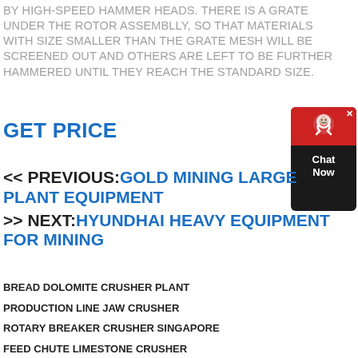BY HIGH-SPEED HAMMER HEADS. THERE IS A GRATE UNDER THE ROTOR ASSEMBLLY, SO THAT MATERIALS WITH SIZE SMALLER THAN THE GRATE MESH WILL BE SCREENED OUT AND OTHERS ARE LEFT TO BE FURTHER HAMMERED UNTIL THEY REACH THE STANDARD SIZE.
GET PRICE
[Figure (other): Chat Now customer support widget with red top section containing a headset icon and a dark body with 'Chat Now' text]
<< PREVIOUS:GOLD MINING LARGE PLANT EQUIPMENT >> NEXT:HYUNDHAI HEAVY EQUIPMENT FOR MINING
BREAD DOLOMITE CRUSHER PLANT
PRODUCTION LINE JAW CRUSHER
ROTARY BREAKER CRUSHER SINGAPORE
FEED CHUTE LIMESTONE CRUSHER